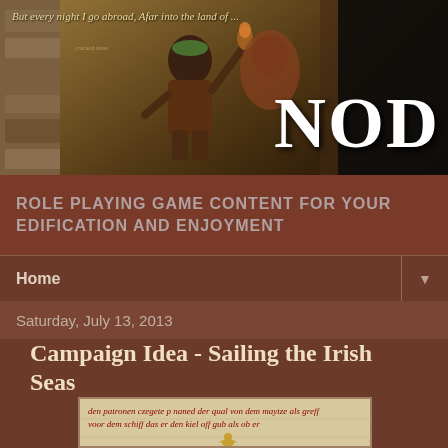[Figure (photo): Blog header banner showing a medieval-style warrior figure holding a torch against a dark background, with 'NOD' in large white bold letters on the right side, and italic quote text at top left]
ROLE PLAYING GAME CONTENT FOR YOUR EDIFICATION AND ENJOYMENT
Home
Saturday, July 13, 2013
Campaign Idea - Sailing the Irish Seas
[Figure (photo): Medieval manuscript page showing handwritten text in old script with illuminated golden figure]